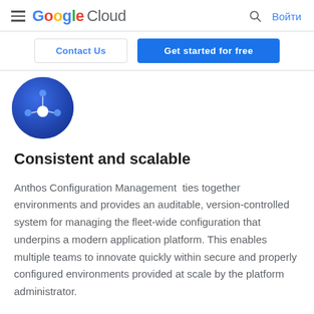Google Cloud — Войти
[Figure (logo): Google Cloud logo with hamburger menu, search icon, and Войти button]
[Figure (illustration): Blue circular icon with white dots representing Anthos Configuration Management]
Consistent and scalable
Anthos Configuration Management ties together environments and provides an auditable, version-controlled system for managing the fleet-wide configuration that underpins a modern application platform. This enables multiple teams to innovate quickly within secure and properly configured environments provided at scale by the platform administrator.